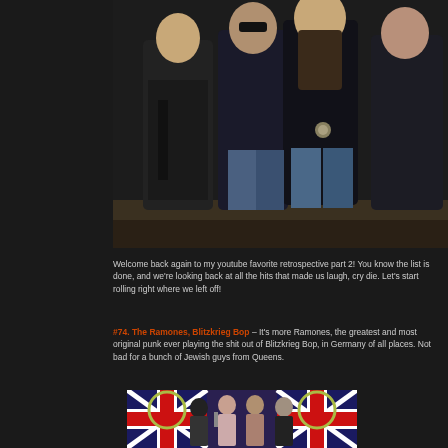[Figure (photo): Black and white/color photo of The Ramones punk band members standing together in leather jackets]
Welcome back again to my youtube favorite retrospective part 2!  You know the list is done, and we're looking back at all the hits that made us laugh, cry die.  Let's start rolling right where we left off!
#74.  The Ramones, Blitzkrieg Bop – It's more Ramones, the greatest and most original punk ever playing the shit out of Blitzkrieg Bop, in Germany of all places. Not bad for a bunch of Jewish guys from Queens.
[Figure (photo): Color photo of punk band members posed in front of Union Jack British flags]